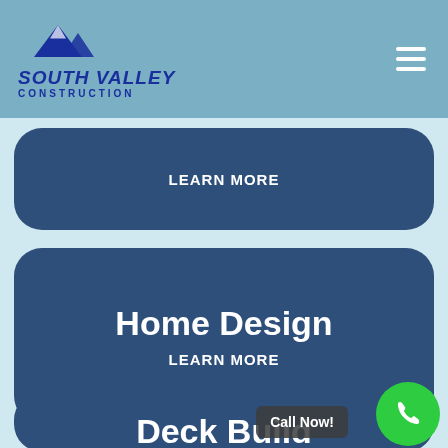[Figure (logo): South Valley Construction logo with mountain icon]
LEARN MORE
Home Design
LEARN MORE
Deck Build
Call Now!